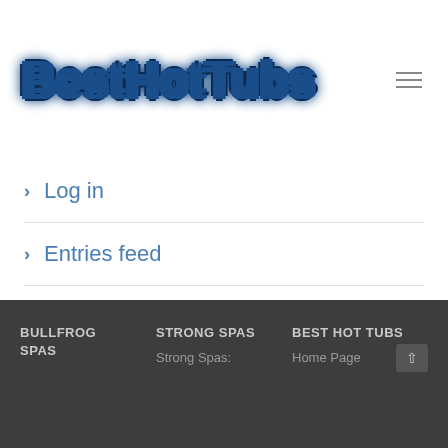[Figure (logo): BestHotTubs logo with stylized bubble/western style lettering in white with dark blue outline and gradient]
Log in
Entries feed
Comments feed
WordPress.org
BULLFROG SPAS | STRONG SPAS | BEST HOT TUBS | Strong Spas: | Home Page